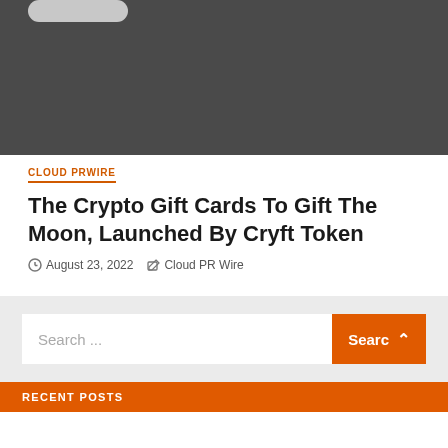[Figure (screenshot): Dark gray image area with a light gray rounded button stub visible at top left]
CLOUD PRWIRE
The Crypto Gift Cards To Gift The Moon, Launched By Cryft Token
August 23, 2022   Cloud PR Wire
[Figure (screenshot): Search widget area with a search input box placeholder 'Search ...' and an orange Search button with chevron, on a light gray background. Below is an orange bar with 'RECENT POSTS' label.]